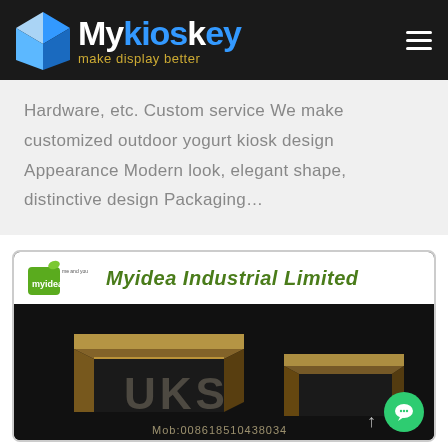Mykioskey – make display better
Hardware, etc. Custom service We make customized outdoor yogurt kiosk design Appearance Modern look, elegant shape, distinctive design Packaging...
[Figure (screenshot): Myidea Industrial Limited product listing card showing a dark wooden kiosk display with UKS watermark and mob contact number 008618510438034]
Myidea Industrial Limited